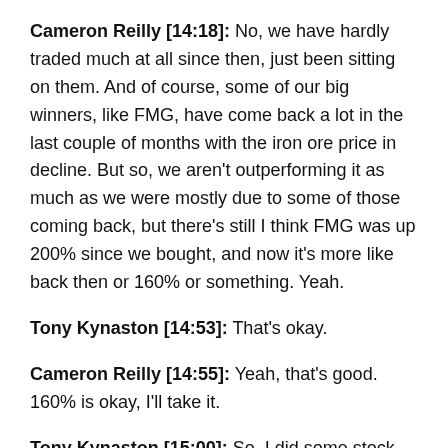Cameron Reilly [14:18]: No, we have hardly traded much at all since then, just been sitting on them. And of course, some of our big winners, like FMG, have come back a lot in the last couple of months with the iron ore price in decline. But so, we aren't outperforming it as much as we were mostly due to some of those coming back, but there's still I think FMG was up 200% since we bought, and now it's more like back then or 160% or something. Yeah.
Tony Kynaston [14:53]: That's okay.
Cameron Reilly [14:55]: Yeah, that's good. 160% is okay, I'll take it.
Tony Kynaston [15:00]: So, I did some stock journals. I know you've been away, but I sold out of my holding of ING, Inghams Group.